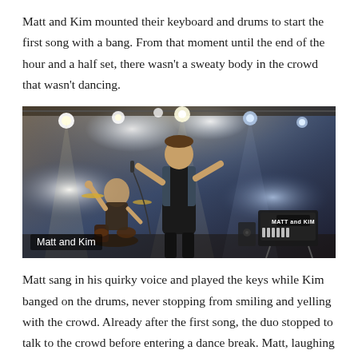Matt and Kim mounted their keyboard and drums to start the first song with a bang. From that moment until the end of the hour and a half set, there wasn't a sweaty body in the crowd that wasn't dancing.
[Figure (photo): Concert photo of Matt and Kim on stage. A male performer stands front and center holding a microphone, wearing a sleeveless denim vest. A female drummer is visible in the background left. Stage lights illuminate the scene. Caption overlay reads 'Matt and Kim'.]
Matt and Kim
Matt sang in his quirky voice and played the keys while Kim banged on the drums, never stopping from smiling and yelling with the crowd. Already after the first song, the duo stopped to talk to the crowd before entering a dance break. Matt, laughing to himself, asked the sound engineer to turn down his in ear monitor and explained